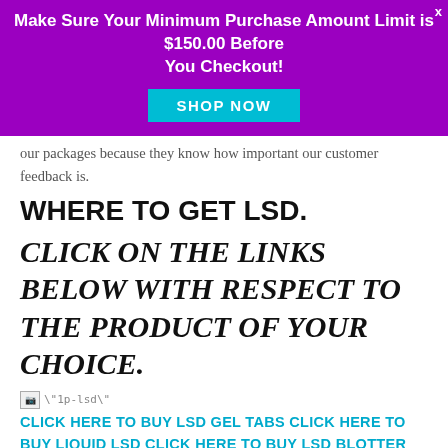Make Sure Your Minimum Purchase Amount Limit is $150.00 Before You Checkout!
[Figure (other): Purple banner with Shop Now button and close X]
our packages because they know how important our customer feedback is.
WHERE TO GET LSD.
CLICK ON THE LINKS BELOW WITH RESPECT TO THE PRODUCT OF YOUR CHOICE.
[Figure (other): Broken image placeholder showing "1p-lsd"]
CLICK HERE TO BUY LSD GEL TABS CLICK HERE TO BUY LIQUID LSD CLICK HERE TO BUY LSD BLOTTER
Strength of all our lsd products: 200ug – 500ug. Quality of